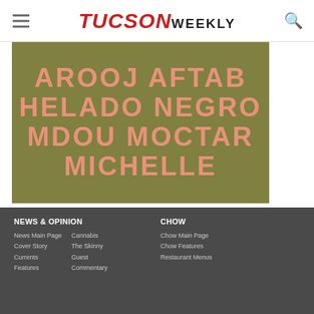TUCSON WEEKLY
[Figure (illustration): Event poster with olive/dark yellow background and salmon/coral colored bold text listing artist names: AROOJ AFTAB, HELADO NEGRO, MDOU MOCTAR, MICHELLE]
NEWS & OPINION | News Main Page | Cover Story | Currents | Features | Cannabis | The Skinny | Guest Commentary | CHOW | Chow Main Page | Chow Features | Restaurant Menus